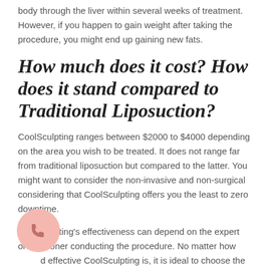body through the liver within several weeks of treatment. However, if you happen to gain weight after taking the procedure, you might end up gaining new fats.
How much does it cost? How does it stand compared to Traditional Liposuction?
CoolSculpting ranges between $2000 to $4000 depending on the area you wish to be treated. It does not range far from traditional liposuction but compared to the latter. You might want to consider the non-invasive and non-surgical considering that CoolSculpting offers you the least to zero downtime.
CoolSculpting's effectiveness can depend on the expert or practitioner conducting the procedure. No matter how good and effective CoolSculpting is, it is ideal to choose the best aesthetic team. Taking the next step to attaining